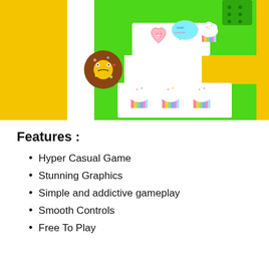[Figure (screenshot): Screenshot of a hyper casual mobile game featuring a green and yellow maze/puzzle layout with cute kawaii food characters: a heart-shaped cookie, a speech bubble saying 'hello sweetie', a cupcake, a brown donut character with a face, and three rainbow cupcakes on platforms.]
Features :
Hyper Casual Game
Stunning Graphics
Simple and addictive gameplay
Smooth Controls
Free To Play